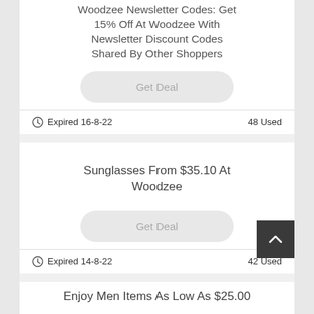Woodzee Newsletter Codes: Get 15% Off At Woodzee With Newsletter Discount Codes Shared By Other Shoppers
Get Deal
Expired 16-8-22    48 Used
Sunglasses From $35.10 At Woodzee
Get Deal
Expired 14-8-22    42 Used
Enjoy Men Items As Low As $25.00